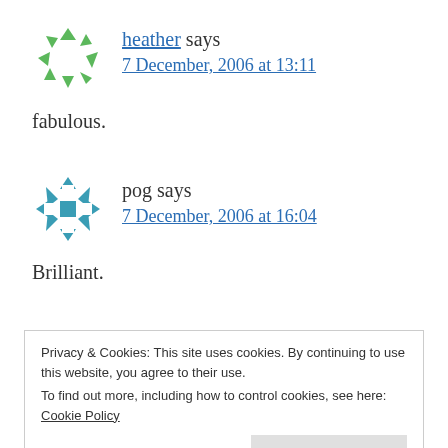[Figure (logo): Green circular avatar icon made of triangular arrow segments pointing inward, forming a ring shape]
heather says
7 December, 2006 at 13:11
fabulous.
[Figure (logo): Teal/blue snowflake or asterisk-shaped avatar icon with square holes in the arms]
pog says
7 December, 2006 at 16:04
Brilliant.
Privacy & Cookies: This site uses cookies. By continuing to use this website, you agree to their use.
To find out more, including how to control cookies, see here: Cookie Policy
Close and accept